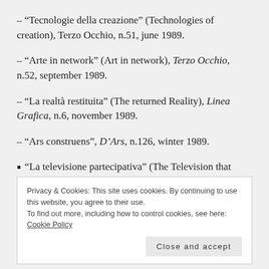– “Tecnologie della creazione” (Technologies of creation), Terzo Occhio, n.51, june 1989.
– “Arte in network” (Art in network), Terzo Occhio, n.52, september 1989.
– “La realtà restituita” (The returned Reality), Linea Grafica, n.6, november 1989.
– “Ars construens”, D’Ars, n.126, winter 1989.
• “La televisione partecipativa” (The Television that
Privacy & Cookies: This site uses cookies. By continuing to use this website, you agree to their use.
To find out more, including how to control cookies, see here: Cookie Policy
Close and accept